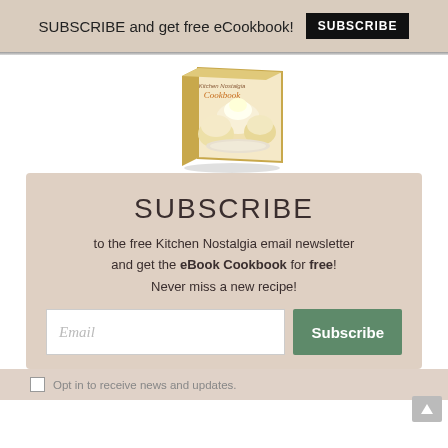SUBSCRIBE and get free eCookbook! SUBSCRIBE
[Figure (illustration): 3D book cover of Kitchen Nostalgia Cookbook showing cream puffs/pastries on a white and gold book]
SUBSCRIBE
to the free Kitchen Nostalgia email newsletter and get the eBook Cookbook for free! Never miss a new recipe!
Email  Subscribe
Opt in to receive news and updates.